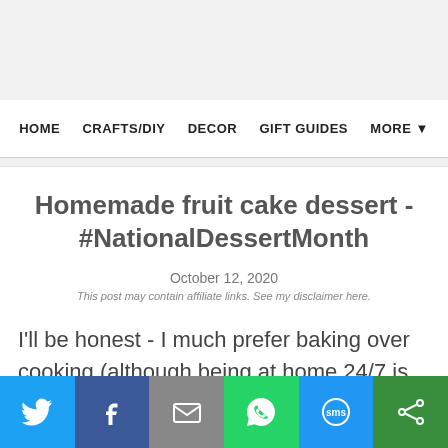HOME  CRAFTS/DIY  DECOR  GIFT GUIDES  MORE
Homemade fruit cake dessert - #NationalDessertMonth
October 12, 2020
This post may contain affiliate links. See my disclaimer here.
I'll be honest - I much prefer baking over cooking (although being at home 24/7 is changing all of that). We kind of have standing
[Figure (infographic): Social share bar with Twitter, Facebook, Email, WhatsApp, SMS, and share buttons at the bottom of the page]